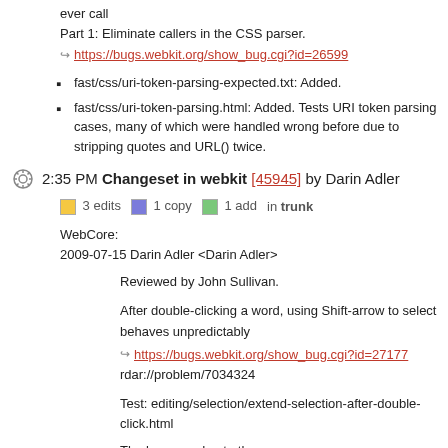ever call
Part 1: Eliminate callers in the CSS parser.
https://bugs.webkit.org/show_bug.cgi?id=26599
fast/css/uri-token-parsing-expected.txt: Added.
fast/css/uri-token-parsing.html: Added. Tests URI token parsing cases, many of which were handled wrong before due to stripping quotes and URL() twice.
2:35 PM Changeset in webkit [45945] by Darin Adler
3 edits  1 copy  1 add  in trunk
WebCore:
2009-07-15 Darin Adler <Darin Adler>
Reviewed by John Sullivan.
After double-clicking a word, using Shift-arrow to select behaves unpredictably
https://bugs.webkit.org/show_bug.cgi?id=27177
rdar://problem/7034324
Test: editing/selection/extend-selection-after-double-click.html
The bug was due to the m_lastChangeWasHorizontalExtension flag, which was not being cleared in many cases where it should have been.
editing/SelectionController.cpp: